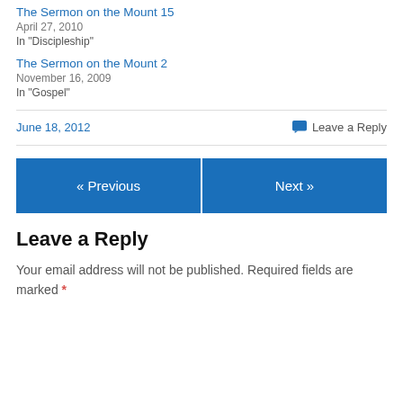The Sermon on the Mount 15
April 27, 2010
In "Discipleship"
The Sermon on the Mount 2
November 16, 2009
In "Gospel"
June 18, 2012
Leave a Reply
« Previous
Next »
Leave a Reply
Your email address will not be published. Required fields are marked *